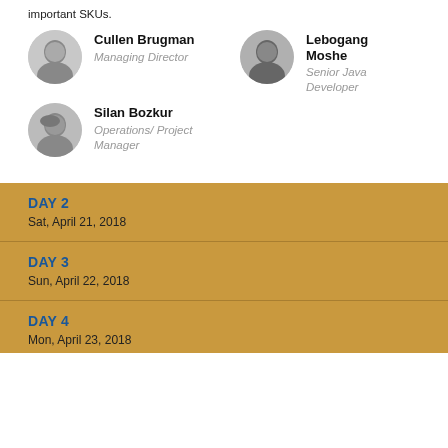important SKUs.
Cullen Brugman
Managing Director
Lebogang Moshe
Senior Java Developer
Silan Bozkur
Operations/ Project Manager
DAY 2
Sat, April 21, 2018
DAY 3
Sun, April 22, 2018
DAY 4
Mon, April 23, 2018